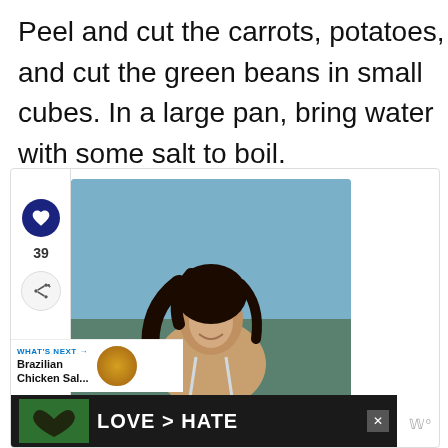Peel and cut the carrots, potatoes, and cut the green beans in small cubes. In a large pan, bring water with some salt to boil.
[Figure (screenshot): Web page screenshot showing a recipe article with social sharing sidebar (heart icon with count 39, share icon), a photo of a smiling woman with dark hair at the beach, a 'WHAT'S NEXT' panel for Brazilian Chicken Sal..., and an advertisement banner reading 'LOVE > HATE' with hands forming a heart shape over a green background.]